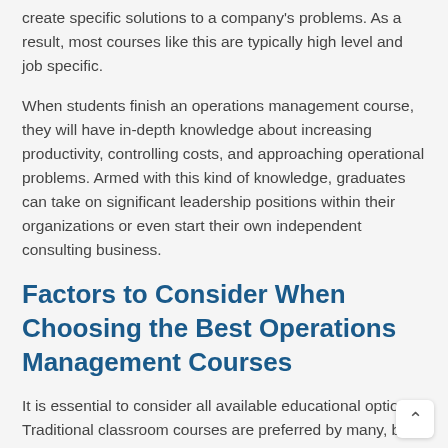create specific solutions to a company's problems. As a result, most courses like this are typically high level and job specific.
When students finish an operations management course, they will have in-depth knowledge about increasing productivity, controlling costs, and approaching operational problems. Armed with this kind of knowledge, graduates can take on significant leadership positions within their organizations or even start their own independent consulting business.
Factors to Consider When Choosing the Best Operations Management Courses
It is essential to consider all available educational options. Traditional classroom courses are preferred by many, but excellent online classes exist for those